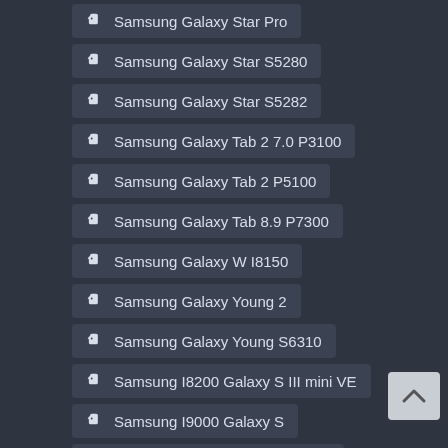Samsung Galaxy Star Pro
Samsung Galaxy Star S5280
Samsung Galaxy Star S5282
Samsung Galaxy Tab 2 7.0 P3100
Samsung Galaxy Tab 2 P5100
Samsung Galaxy Tab 8.9 P7300
Samsung Galaxy W I8150
Samsung Galaxy Young 2
Samsung Galaxy Young S6310
Samsung I8200 Galaxy S III mini VE
Samsung I9000 Galaxy S
Samsung I9105 Galaxy S II Plus
Samsung P1000 Galaxy Tab
Samsung S3770